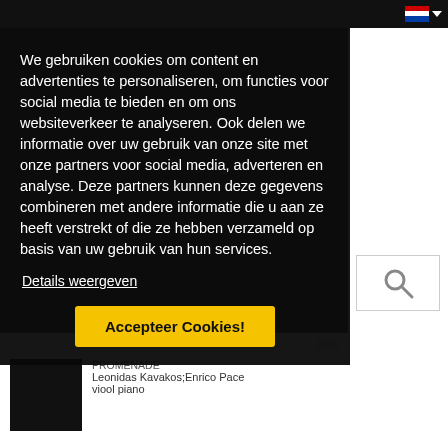We gebruiken cookies om content en advertenties te personaliseren, om functies voor social media te bieden en om ons websiteverkeer te analyseren. Ook delen we informatie over uw gebruik van onze site met onze partners voor social media, adverteren en analyse. Deze partners kunnen deze gegevens combineren met andere informatie die u aan ze heeft verstrekt of die ze hebben verzameld op basis van uw gebruik van hun services.
Details weergeven
Accepteer Cookies!
Leonidas Kavakos;Enrico Pace viool piano